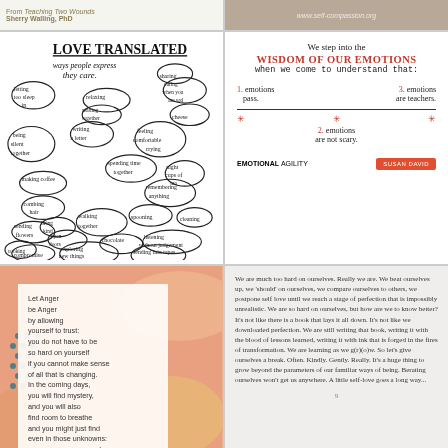From Teaching Two Wounds / Sherry Walling, PhD
www.self-compassion.org
[Figure (illustration): Hand-drawn mind map titled 'Love Translated' showing ways people express they care, with speech-bubble shapes containing phrases like: letting too sleep in, being silent together, writing a letter, making coffee, combing hair, sending flowers, being kind, cooking, compromise, relaxing, reading together, feeling comfortable crying, spending time together, foot rubs, remembering anything, make cups of tea, sharing, cheese, spooning, walking together, cleaning, chocolate, listening without judgement, exploring new things together, sending mix tapes]
[Figure (infographic): Emotional Agility infographic. Text reads: We step into the WISDOM OF OUR EMOTIONS when we come to understand that: 1. emotions pass. 2. emotions are not scary. 3. emotions are teachers. With decorative asterisk dividers. Branded EMOTIONAL AGILITY / SUSAN DAVID.]
[Figure (illustration): Colorful abstract background in peach, orange, and teal with a white overlay card containing a poem starting 'Let Anger be Anger by allowing yourself to trust...' signed -anon-]
We are much too hard on ourselves. Really we are. We beat ourselves up, we 'should' on ourselves, we compare ourselves to others, we postpone self love until we reach a stage of perfection that is impossibly unrealistic. We are so hard on ourselves, but how are we to know better? It's not like there is a book that lays it all down. It's not like we downloaded perfection. We are still writing that book, writing it with the blood of lessons learned, writing it with ink that is forged in the fires of transformation. We are learning as we g(r)(o)w. So let's give ourselves a break. Often. Kindly. Gently. Really. It's a huge thing to grow beyond the parameters of our familiar ways of being. Berating ourselves won't get us anywhere. A little self-love goes a long way...